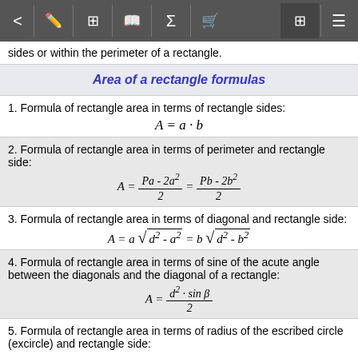< [edit] [table] [book] [sigma] [cart] [calculator] [menu]
sides or within the perimeter of a rectangle.
Area of a rectangle formulas
1. Formula of rectangle area in terms of rectangle sides:
2. Formula of rectangle area in terms of perimeter and rectangle side:
3. Formula of rectangle area in terms of diagonal and rectangle side:
4. Formula of rectangle area in terms of sine of the acute angle between the diagonals and the diagonal of a rectangle:
5. Formula of rectangle area in terms of radius of the escribed circle (excircle) and rectangle side: